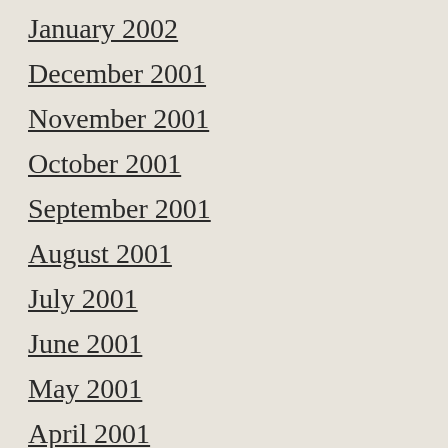January 2002
December 2001
November 2001
October 2001
September 2001
August 2001
July 2001
June 2001
May 2001
April 2001
March 2001
February 2001
January 2001